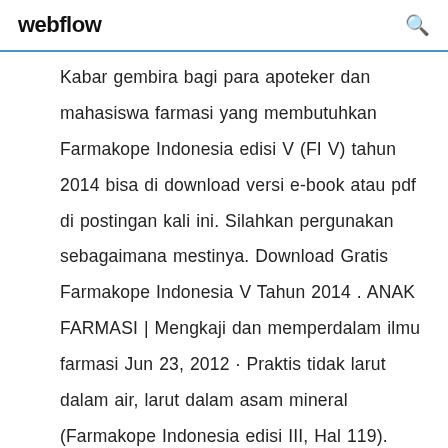webflow
Kabar gembira bagi para apoteker dan mahasiswa farmasi yang membutuhkan Farmakope Indonesia edisi V (FI V) tahun 2014 bisa di download versi e-book atau pdf di postingan kali ini. Silahkan pergunakan sebagaimana mestinya. Download Gratis Farmakope Indonesia V Tahun 2014 . ANAK FARMASI | Mengkaji dan memperdalam ilmu farmasi Jun 23, 2012 · Praktis tidak larut dalam air, larut dalam asam mineral (Farmakope Indonesia edisi III, Hal 119). White Petrolatum : Putih/Kekuningan pucat, massa berminyak transparan dalam lapisan tipis pada cahaya setelah didinginkan pada suhu 0oC. Titik Lebur antara 380-600C. Fungsi sebagai Zat tambahan